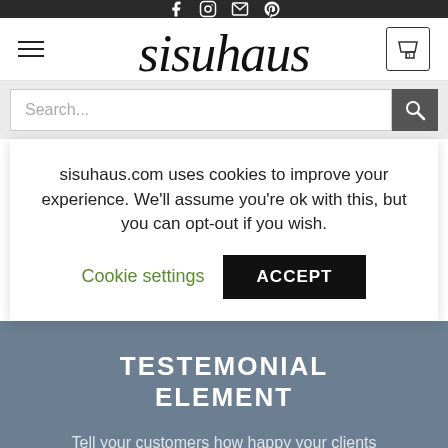Social media icons: Facebook, Instagram, Email, Pinterest
[Figure (logo): sisuhaus cursive script logo with hamburger menu and cart icon showing 0]
Search...
sisuhaus.com uses cookies to improve your experience. We'll assume you're ok with this, but you can opt-out if you wish.
Cookie settings   ACCEPT
TESTEMONIAL ELEMENT
Tell your customers how happy your clients are